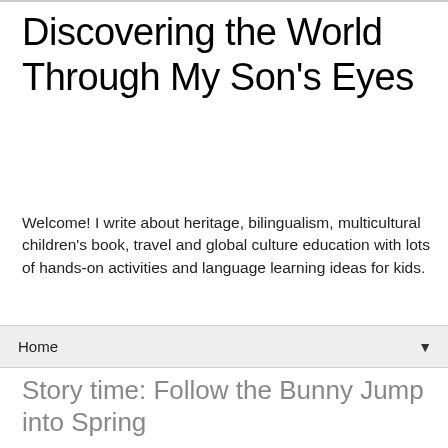Discovering the World Through My Son's Eyes
Welcome! I write about heritage, bilingualism, multicultural children's book, travel and global culture education with lots of hands-on activities and language learning ideas for kids.
Home ▼
Story time: Follow the Bunny Jump into Spring
Spring and Easter Activities for Kids Blog Hop
[Figure (photo): Book cover of 'Follow the Bun...' with colorful floral pattern background in green and red with yellow text]